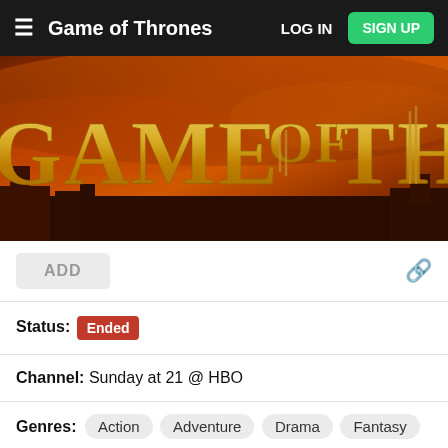Game of Thrones | LOG IN | SIGN UP
[Figure (illustration): Game of Thrones title card banner image with golden gothic lettering on an orange/amber fiery sky background]
ADD
Status: Ended
Channel: Sunday at 21 @ HBO
Genres: Action Adventure Drama Fantasy
Followers: 79,8k (#1)
Episodes: 73